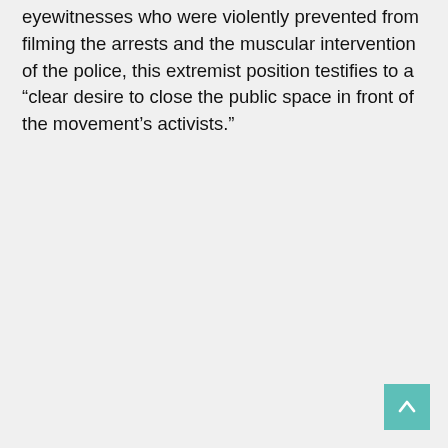eyewitnesses who were violently prevented from filming the arrests and the muscular intervention of the police, this extremist position testifies to a “clear desire to close the public space in front of the movement’s activists.”